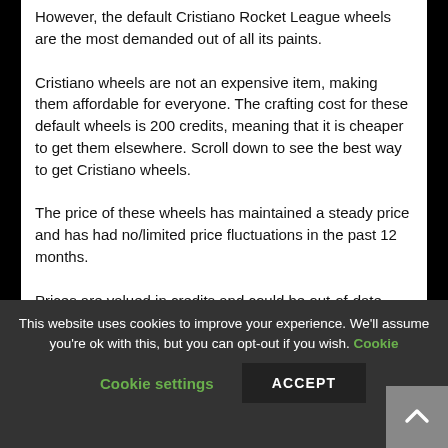However, the default Cristiano Rocket League wheels are the most demanded out of all its paints.
Cristiano wheels are not an expensive item, making them affordable for everyone. The crafting cost for these default wheels is 200 credits, meaning that it is cheaper to get them elsewhere. Scroll down to see the best way to get Cristiano wheels.
The price of these wheels has maintained a steady price and has had no/limited price fluctuations in the past 12 months.
Prices are valued in credits and could be out-of-date slightly. This is due to prices being updated manually as often as possible.
This website uses cookies to improve your experience. We'll assume you're ok with this, but you can opt-out if you wish. Cookie settings ACCEPT